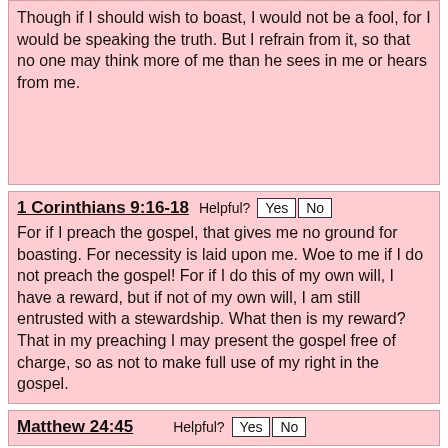Though if I should wish to boast, I would not be a fool, for I would be speaking the truth. But I refrain from it, so that no one may think more of me than he sees in me or hears from me.
1 Corinthians 9:16-18
For if I preach the gospel, that gives me no ground for boasting. For necessity is laid upon me. Woe to me if I do not preach the gospel! For if I do this of my own will, I have a reward, but if not of my own will, I am still entrusted with a stewardship. What then is my reward? That in my preaching I may present the gospel free of charge, so as not to make full use of my right in the gospel.
Matthew 24:45